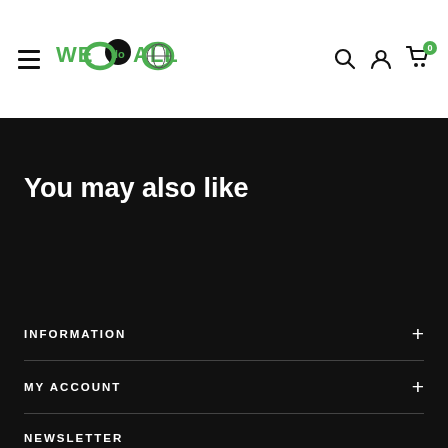[Figure (logo): WeDoAll infinity logo with green infinity symbol and circular icons]
You may also like
INFORMATION +
MY ACCOUNT +
NEWSLETTER